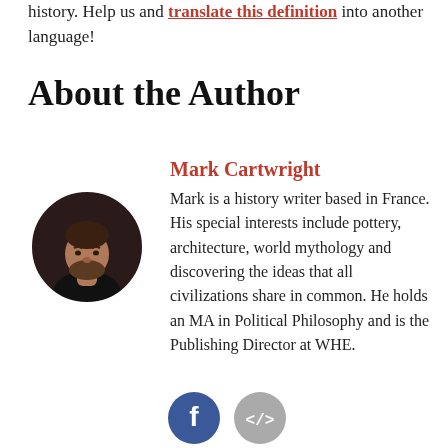history. Help us and translate this definition into another language!
About the Author
[Figure (photo): Circular portrait photo of Mark Cartwright, a bearded middle-aged man in a dark shirt, against a dark background.]
Mark Cartwright
Mark is a history writer based in France. His special interests include pottery, architecture, world mythology and discovering the ideas that all civilizations share in common. He holds an MA in Political Philosophy and is the Publishing Director at WHE.
[Figure (other): Two social media icon buttons: a blue Facebook icon and a grey embed/code icon.]